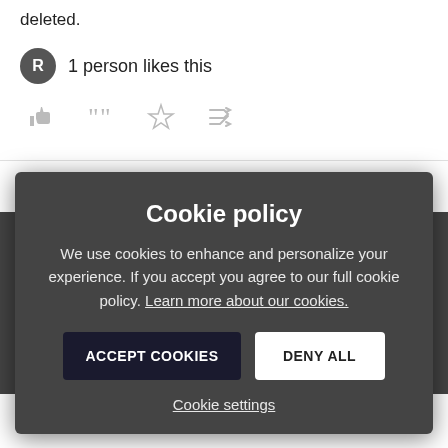deleted.
1 person likes this
[Figure (other): Action icons: thumbs up, quote, star, shuffle]
11 replies
Best voted
rburke  1 year ago
It's not sporadic for us. We have multiple people in our organization who experience this consistently on Chrome. It might stop after an update or maybe a computer restart, but only fo... a consistent
[Figure (other): Cookie policy modal overlay with Accept Cookies and Deny All buttons]
Cookie policy
We use cookies to enhance and personalize your experience. If you accept you agree to our full cookie policy. Learn more about our cookies.
ACCEPT COOKIES
DENY ALL
Cookie settings